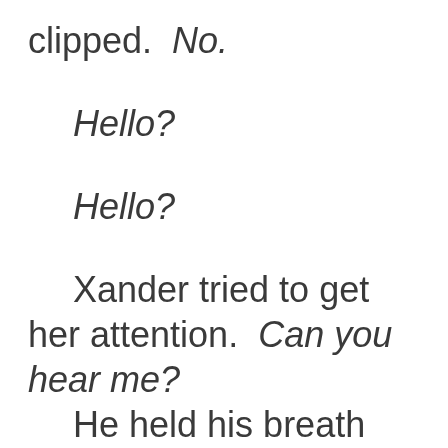clipped.  No.
Hello?
Hello?
Xander tried to get her attention.  Can you hear me?  He held his breath when he heard her distinct gasp, knowing that their mind link worked.  His chest filled with dread at the